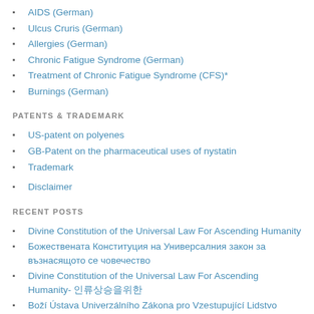AIDS (German)
Ulcus Cruris (German)
Allergies (German)
Chronic Fatigue Syndrome (German)
Treatment of Chronic Fatigue Syndrome (CFS)*
Burnings (German)
PATENTS & TRADEMARK
US-patent on polyenes
GB-Patent on the pharmaceutical uses of nystatin
Trademark
Disclaimer
RECENT POSTS
Divine Constitution of the Universal Law For Ascending Humanity
Божествената Конституция на Универсалния закон за възнасящото се човечество
Divine Constitution of the Universal Law For Ascending Humanity- 인류상승을위한
Boží Ústava Univerzálního Zákona pro Vzestupující Lidstvo
Constitution Divine de la Loi Universelle pour l'Humanité Ascendante